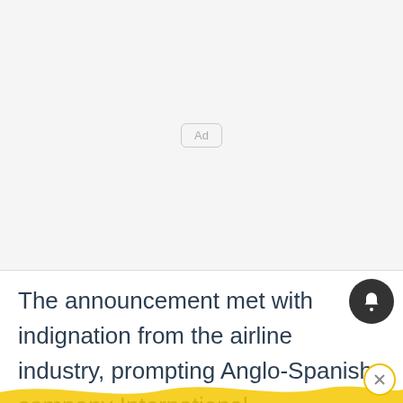[Figure (other): Advertisement placeholder area with light gray background and 'Ad' label in center]
The announcement met with indignation from the airline industry, prompting Anglo-Spanish company International